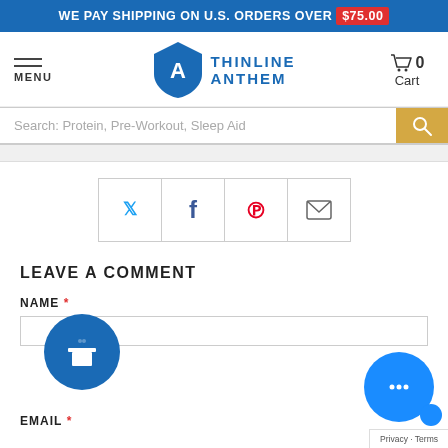WE PAY SHIPPING ON U.S. ORDERS OVER $75.00
[Figure (logo): Thinline Anthem logo with blue shield icon and THINLINE ANTHEM text]
MENU
0 Cart
Search: Protein, Pre-Workout, Sleep Aid
[Figure (infographic): Social share buttons: Twitter, Facebook, Pinterest, Email]
LEAVE A COMMENT
NAME *
EMAIL *